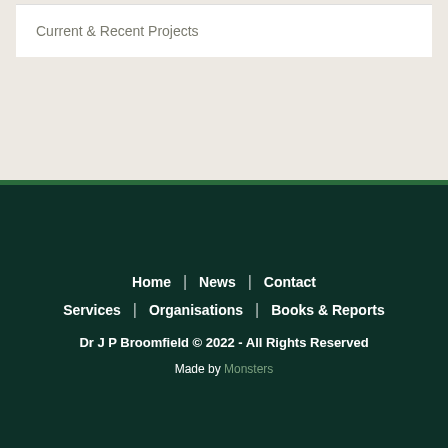Current & Recent Projects
Home | News | Contact
Services | Organisations | Books & Reports
Dr J P Broomfield © 2022 - All Rights Reserved
Made by Monsters